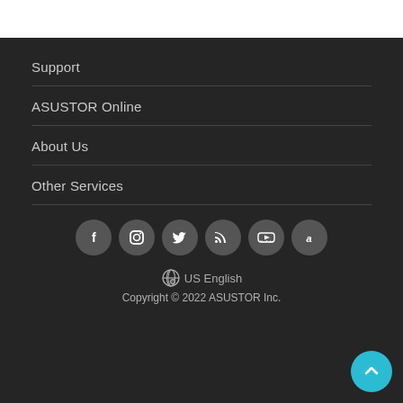Support
ASUSTOR Online
About Us
Other Services
[Figure (other): Social media icons row: Facebook, Instagram, Twitter, RSS, YouTube, ASUSTOR]
🌐 US English
Copyright © 2022 ASUSTOR Inc.